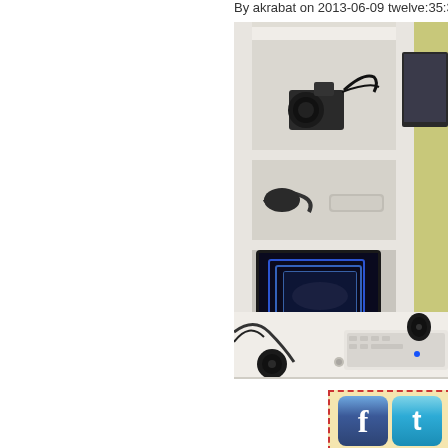By akrabat on 2013-06-09 twelve:35:36
[Figure (photo): A white desk hutch with shelves containing a DSLR camera on top shelf, cables and accessories on middle shelf, and an open laptop showing a blue screensaver or wallpaper. To the right is a monitor and external keyboard on the desk surface. Small speakers visible on floor.]
[Figure (other): Social media sharing buttons showing Facebook and Twitter icons on a light yellow background with red dashed border]